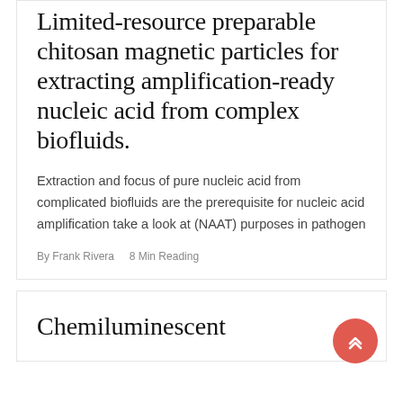Limited-resource preparable chitosan magnetic particles for extracting amplification-ready nucleic acid from complex biofluids.
Extraction and focus of pure nucleic acid from complicated biofluids are the prerequisite for nucleic acid amplification take a look at (NAAT) purposes in pathogen
By Frank Rivera    8 Min Reading
Chemiluminescent